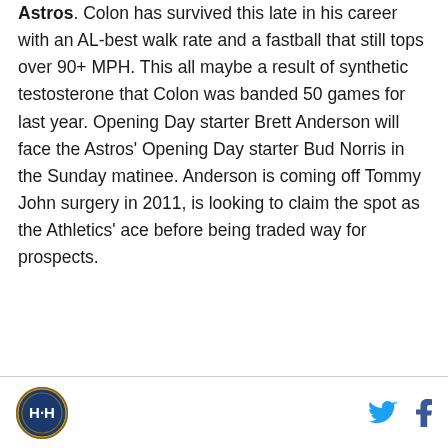Astros. Colon has survived this late in his career with an AL-best walk rate and a fastball that still tops over 90+ MPH. This all maybe a result of synthetic testosterone that Colon was banded 50 games for last year. Opening Day starter Brett Anderson will face the Astros' Opening Day starter Bud Norris in the Sunday matinee. Anderson is coming off Tommy John surgery in 2011, is looking to claim the spot as the Athletics' ace before being traded way for prospects.
[Figure (logo): Circular logo with H-H letters and decorative border]